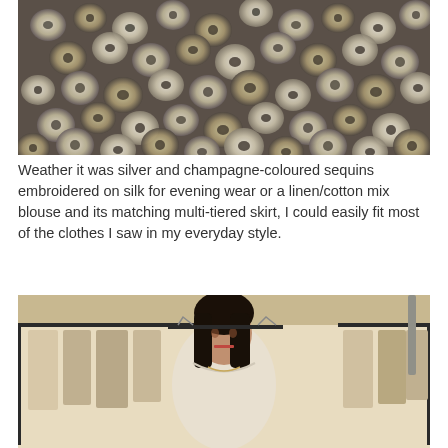[Figure (photo): Close-up photo of silver and champagne-coloured sequins embroidered on fabric, showing overlapping circular metallic discs in silver and gold tones.]
Weather it was silver and champagne-coloured sequins embroidered on silk for evening wear or a linen/cotton mix blouse and its matching multi-tiered skirt, I could easily fit most of the clothes I saw in my everyday style.
[Figure (photo): Photo of a dark-haired woman standing in front of a clothing rack with various garments hanging on it, wearing a white top, in a retail or showroom setting.]